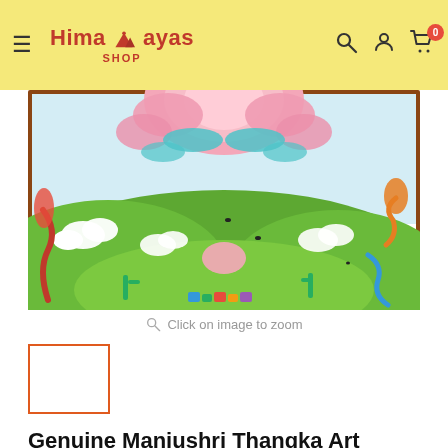Himalayas Shop — navigation header with hamburger menu, logo, search, account, and cart icons
[Figure (photo): A cropped Thangka painting showing a large pink lotus flower at the top center, green rolling hills landscape, white clouds, colorful decorative elements, and traditional Tibetan Buddhist art motifs]
Click on image to zoom
[Figure (photo): Thumbnail image placeholder with orange/red border outline]
Genuine Manjushri Thangka Art